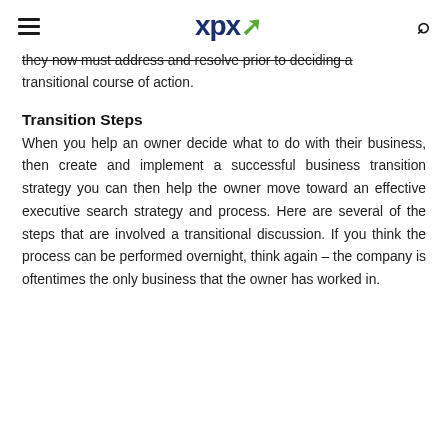XPX
they now must address and resolve prior to deciding a transitional course of action.
Transition Steps
When you help an owner decide what to do with their business, then create and implement a successful business transition strategy you can then help the owner move toward an effective executive search strategy and process. Here are several of the steps that are involved a transitional discussion. If you think the process can be performed overnight, think again – the company is oftentimes the only business that the owner has worked in.